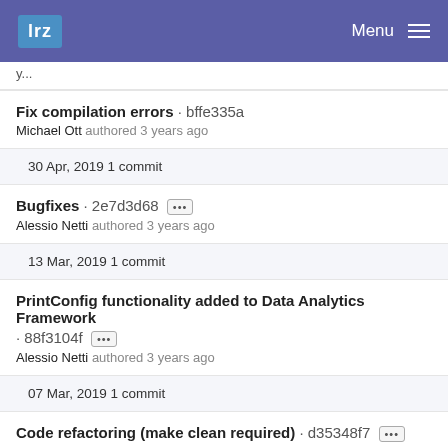lrz  Menu
y...
Fix compilation errors · bffe335a
Michael Ott authored 3 years ago
30 Apr, 2019 1 commit
Bugfixes · 2e7d3d68 [...]
Alessio Netti authored 3 years ago
13 Mar, 2019 1 commit
PrintConfig functionality added to Data Analytics Framework · 88f3104f [...]
Alessio Netti authored 3 years ago
07 Mar, 2019 1 commit
Code refactoring (make clean required) · d35348f7 [...]
Alessio Netti authored 3 years ago